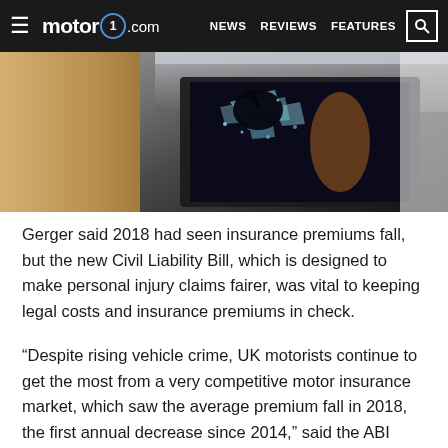motor1.com  NEWS  REVIEWS  FEATURES
[Figure (photo): Close-up photo of a smashed car window with broken glass shards, showing damage consistent with a vehicle break-in. A wooden surface is visible on the left side.]
Gerger said 2018 had seen insurance premiums fall, but the new Civil Liability Bill, which is designed to make personal injury claims fairer, was vital to keeping legal costs and insurance premiums in check.
“Despite rising vehicle crime, UK motorists continue to get the most from a very competitive motor insurance market, which saw the average premium fall in 2018, the first annual decrease since 2014,” said the ABI advisor. “But with cost pressures around theft and